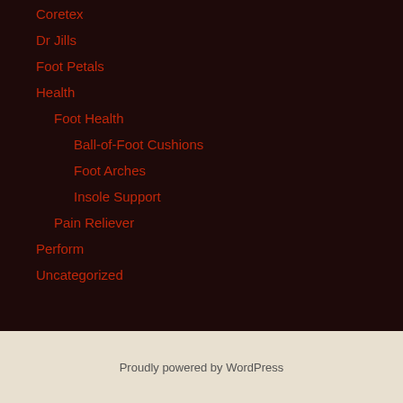Coretex
Dr Jills
Foot Petals
Health
Foot Health
Ball-of-Foot Cushions
Foot Arches
Insole Support
Pain Reliever
Perform
Uncategorized
Proudly powered by WordPress